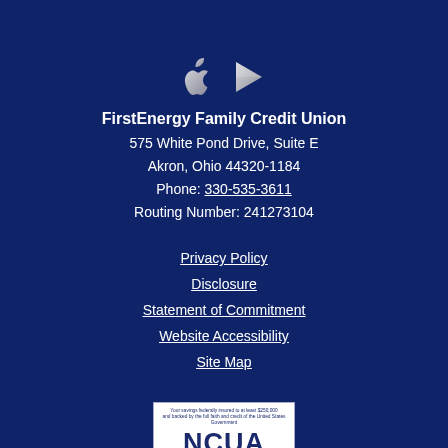[Figure (logo): Apple App Store and Google Play Store icons side by side on dark blue background]
FirstEnergy Family Credit Union
575 White Pond Drive, Suite E
Akron, Ohio 44320-1184
Phone: 330-535-3611
Routing Number: 241273104
Privacy Policy
Disclosure
Statement of Commitment
Website Accessibility
Site Map
[Figure (logo): NCUA logo — Your savings federally insured to at least $250,000 and backed by the full faith and credit of the United States Government]